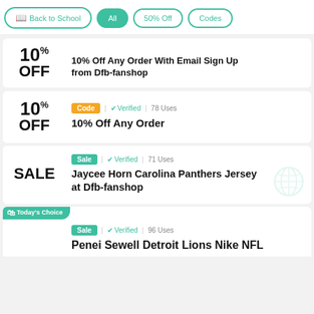Back to School | All | 50% Off | Codes
10% OFF — 10% Off Any Order With Email Sign Up from Dfb-fanshop
Code | Verified | 78 Uses — 10% Off Any Order
Sale | Verified | 71 Uses — Jaycee Horn Carolina Panthers Jersey at Dfb-fanshop
Today's Choice | Sale | Verified | 96 Uses — Penei Sewell Detroit Lions Nike NFL...